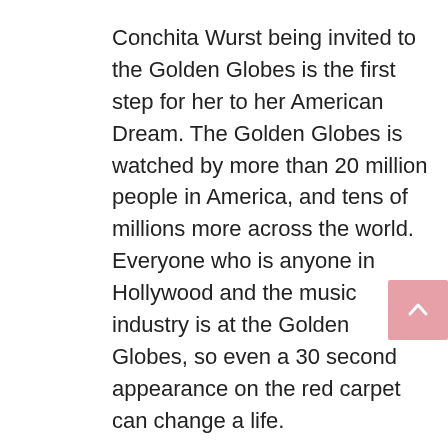Conchita Wurst being invited to the Golden Globes is the first step for her to her American Dream. The Golden Globes is watched by more than 20 million people in America, and tens of millions more across the world. Everyone who is anyone in Hollywood and the music industry is at the Golden Globes, so even a 30 second appearance on the red carpet can change a life.
Conchita Wurst, of course, will take that step onto the red carpet on January 11th and, my guess is, her life will change. Again. Because America has never seen an elegant, beautiful, fashionable, charming, eloquent, intelligent and, frankly, quite bewitching bearded drag